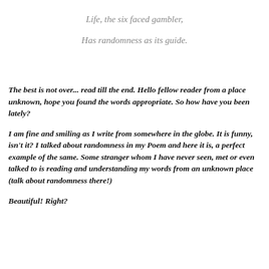Life, the six faced gambler,
Has randomness as its guide.
The best is not over... read till the end. Hello fellow reader from a place unknown, hope you found the words appropriate. So how have you been lately?
I am fine and smiling as I write from somewhere in the globe. It is funny, isn't it? I talked about randomness in my Poem and here it is, a perfect example of the same. Some stranger whom I have never seen, met or even talked to is reading and understanding my words from an unknown place (talk about randomness there!)
Beautiful! Right?